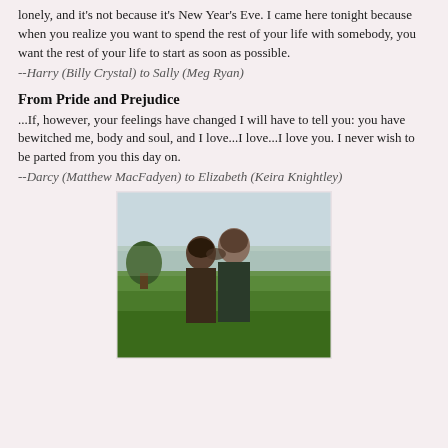lonely, and it's not because it's New Year's Eve. I came here tonight because when you realize you want to spend the rest of your life with somebody, you want the rest of your life to start as soon as possible.
--Harry (Billy Crystal) to Sally (Meg Ryan)
From Pride and Prejudice
...If, however, your feelings have changed I will have to tell you: you have bewitched me, body and soul, and I love...I love...I love you. I never wish to be parted from you this day on.
--Darcy (Matthew MacFadyen) to Elizabeth (Keira Knightley)
[Figure (photo): A romantic scene from Pride and Prejudice showing two people (a woman and a man) standing close together in an outdoor field setting, foreheads nearly touching, in period costume.]